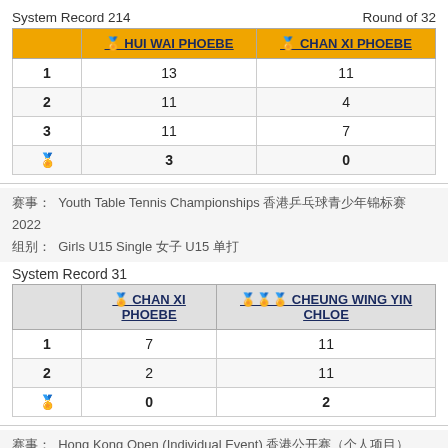System Record 214   Round of 32
|  | 🏅 HUI WAI PHOEBE | 🏅 CHAN XI PHOEBE |
| --- | --- | --- |
| 1 | 13 | 11 |
| 2 | 11 | 4 |
| 3 | 11 | 7 |
| 🏅 | 3 | 0 |
赛事: Youth Table Tennis Championships 香港乒乓球青少年锦标赛 2022
组别: Girls U15 Single 女子 U15 单打
System Record 31
|  | 🏅 CHAN XI PHOEBE | 🏅🏅🏅 CHEUNG WING YIN CHLOE |
| --- | --- | --- |
| 1 | 7 | 11 |
| 2 | 2 | 11 |
| 🏅 | 0 | 2 |
赛事: Hong Kong Open (Individual Event) 香港公开赛（个人项目） 2022
组别: Womens C Single 女子丙组
System Record 22   Round of 64